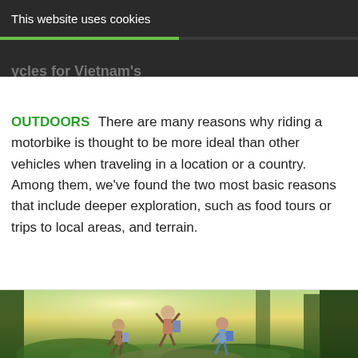This website uses cookies
OKAY   MORE INFO
Terrain
OUTDOORS  There are many reasons why riding a motorbike is thought to be more ideal than other vehicles when traveling in a location or a country. Among them, we've found the two most basic reasons that include deeper exploration, such as food tours or trips to local areas, and terrain.
[Figure (photo): Three children with backpacks jumping joyfully in a lush green forest, seen from behind, with sunlight filtering through trees.]